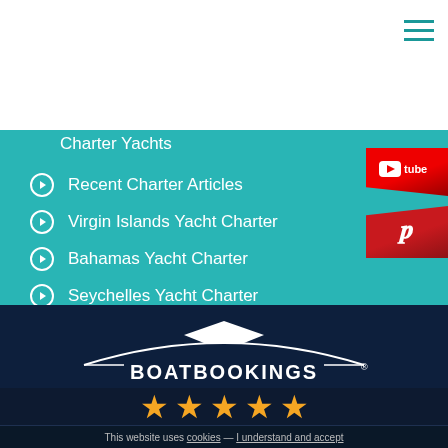[Figure (screenshot): Hamburger menu icon (three teal horizontal lines) in top-right corner]
Charter Yachts
Recent Charter Articles
Virgin Islands Yacht Charter
Bahamas Yacht Charter
Seychelles Yacht Charter
Where We Charter
[Figure (logo): YouTube badge (red ribbon with Tube text)]
[Figure (logo): Pinterest badge (red ribbon with P icon)]
[Figure (logo): BoatBookings logo — white boat silhouette with BOATBOOKINGS text on dark navy background]
[Figure (infographic): Five gold stars rating display]
Rating: 4.9 / 5 calculated on 1072 reviews
This website uses cookies — I understand and accept